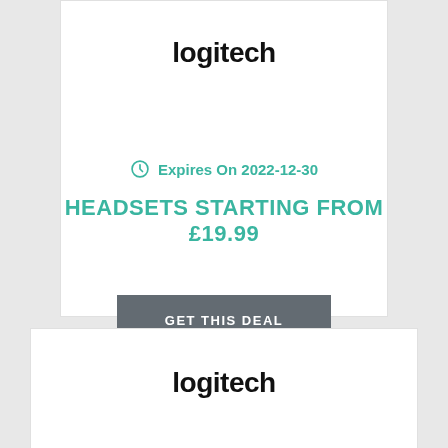[Figure (logo): Logitech logo in bold black text]
Expires On 2022-12-30
HEADSETS STARTING FROM £19.99
GET THIS DEAL
[Figure (logo): Logitech logo in bold black text (second card)]